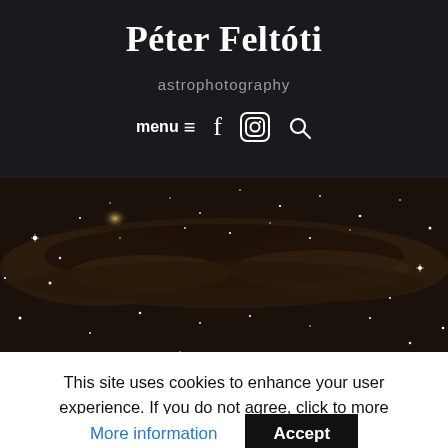Péter Feltóti
astrophotography
menu ≡  f  ⊙  🔍
[Figure (photo): Astrophotography image showing a dark nebula band with stars scattered across a dark sky background, milky way region with dust lanes visible.]
This site uses cookies to enhance your user experience. If you do not agree, click to more information button.
More information
Accept